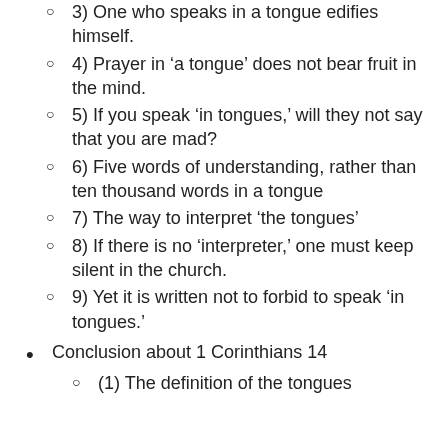3) One who speaks in a tongue edifies himself.
4) Prayer in ‘a tongue’ does not bear fruit in the mind.
5) If you speak ‘in tongues,’ will they not say that you are mad?
6) Five words of understanding, rather than ten thousand words in a tongue
7) The way to interpret ‘the tongues’
8) If there is no ‘interpreter,’ one must keep silent in the church.
9) Yet it is written not to forbid to speak ‘in tongues.’
Conclusion about 1 Corinthians 14
(1) The definition of the tongues